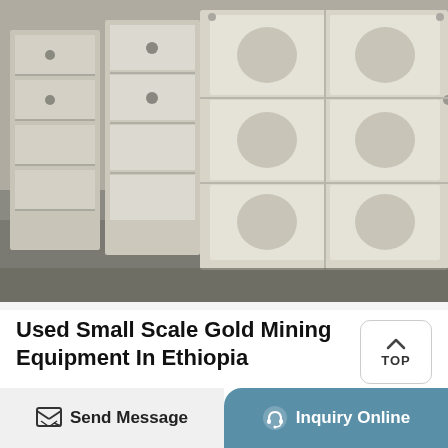[Figure (photo): Industrial mining crusher equipment - large white/concrete colored box-shaped crusher units lined up in a warehouse or factory floor]
Used Small Scale Gold Mining Equipment In Ethiopia
Used Small Scale Gold Mining Equipment in Ethiopia,Shanghai XSM is a professional ore crusher equipment,Used Small Scale Gold Mining Equipment in Ethiopia, mechanical beneficiation equipment, ore milling equipment manufacturers.Ore mining process, the first belt conveyor, vibrating feeder, conveyor equipment ore
Send Message  |  Inquiry Online